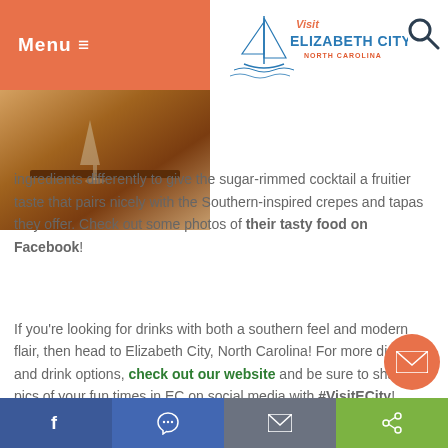Menu ≡ | Visit Elizabeth City North Carolina logo | Search
[Figure (photo): Food or drink photo in warm brown tones, partially visible in upper left area]
At The Mills Downtown Bistro, you can try an equally refreshing margarita. The bartenders at the bistro balance the ingredients differently to give the sugar-rimmed cocktail a fruitier taste that pairs nicely with the Southern-inspired crepes and tapas they offer. Check out some photos of their tasty food on Facebook!
If you're looking for drinks with both a southern feel and modern flair, then head to Elizabeth City, North Carolina! For more dining and drink options, check out our website and be sure to share pics of your fun times in EC on social media with #VisitECity!
Facebook | Messenger | Mail | Share